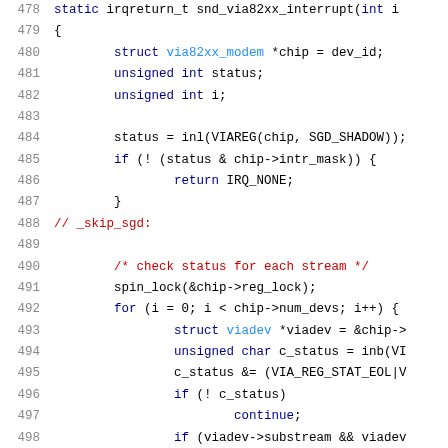[Figure (screenshot): Source code listing in C showing lines 478-499 of a Linux kernel driver for VIA 82xx modem interrupt handler. Syntax-highlighted code with line numbers on the left. Keywords in dark blue, type names in light blue, comments in red, identifiers in black.]